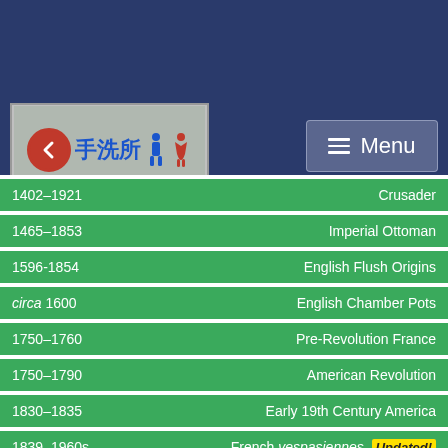[Figure (photo): Japanese lavatory/restroom sign with arrow, kanji characters 手洗所, male and female restroom icons, and the word LAVATORY]
1402–1921   Crusader
1465–1853   Imperial Ottoman
1596-1854   English Flush Origins
circa 1600   English Chamber Pots
1750–1760   Pre-Revolution France
1750–1790   American Revolution
1830–1835   Early 19th Century America
1839–1960s   French vespasiennes   Updated!
1848–1872   Mid-19th Century America